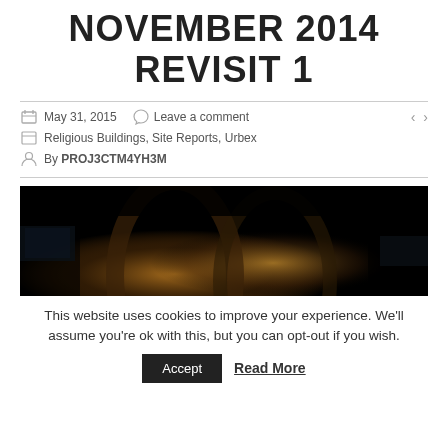NOVEMBER 2014 REVISIT 1
May 31, 2015   Leave a comment
Religious Buildings, Site Reports, Urbex
By PROJ3CTM4YH3M
[Figure (photo): Dark interior photograph of a religious building, showing arched architectural elements with warm amber/golden lighting against a very dark background]
This website uses cookies to improve your experience. We'll assume you're ok with this, but you can opt-out if you wish.
Accept   Read More